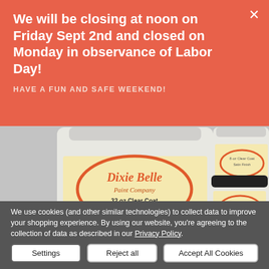We will be closing at noon on Friday Sept 2nd and closed on Monday in observance of Labor Day!
HAVE A FUN AND SAFE WEEKEND!
[Figure (photo): Product photo showing Dixie Belle Paint Company Clear Coat Satin Finish jars — a large 32 oz jar in front and two smaller 8 oz jars behind it, on a grey background.]
We use cookies (and other similar technologies) to collect data to improve your shopping experience. By using our website, you're agreeing to the collection of data as described in our Privacy Policy.
Settings
Reject all
Accept All Cookies